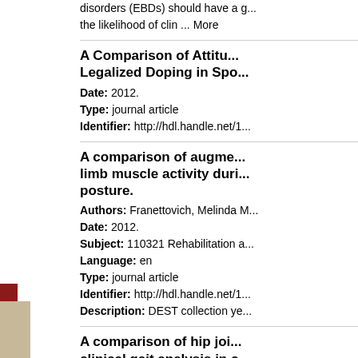disorders (EBDs) should have a g... the likelihood of clin ... More
A Comparison of Attitu... Legalized Doping in Spo...
Date: 2012.
Type: journal article
Identifier: http://hdl.handle.net/1...
A comparison of augme... limb muscle activity duri... posture.
Authors: Franettovich, Melinda M...
Date: 2012.
Subject: 110321 Rehabilitation a...
Language: en
Type: journal article
Identifier: http://hdl.handle.net/1...
Description: DEST collection ye...
A comparison of hip joi... clinical gait analysis in c...
Date: 2012.